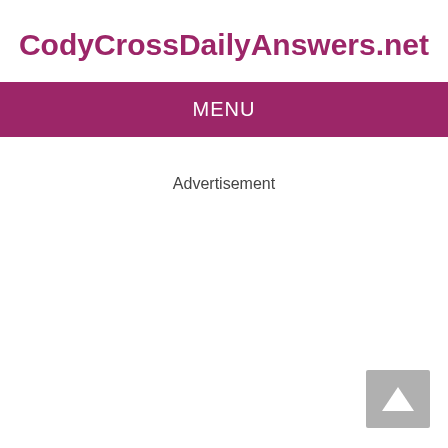CodyCrossDailyAnswers.net
MENU
Advertisement